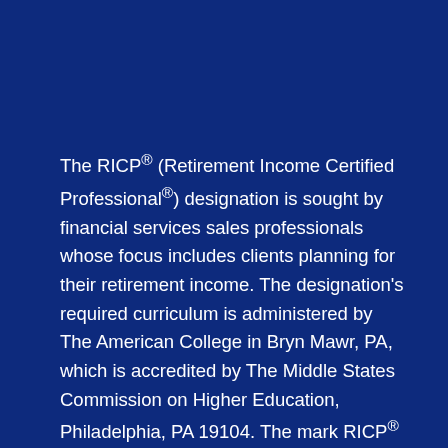The RICP® (Retirement Income Certified Professional®) designation is sought by financial services sales professionals whose focus includes clients planning for their retirement income. The designation's required curriculum is administered by The American College in Bryn Mawr, PA, which is accredited by The Middle States Commission on Higher Education, Philadelphia, PA 19104. The mark RICP® is the property of The American College and may be used only by individuals who have successfully completed the initial and ongoing certification requirements for this designation. Complaints about a designee can be made by e-mail at Registrar@TheAmericanCollege.edu. or by calling 888-263-7265. To verify a designee,